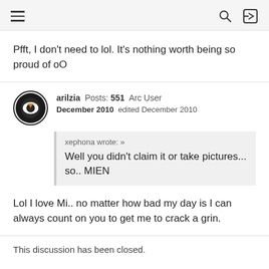Navigation bar with hamburger menu, search icon, and login icon
Pfft, I don't need to lol. It's nothing worth being so proud of oO
arilzia Posts: 551 Arc User
December 2010 edited December 2010
xephona wrote: »
Well you didn't claim it or take pictures... so.. MIEN
Lol I love Mi.. no matter how bad my day is I can always count on you to get me to crack a grin.
This discussion has been closed.